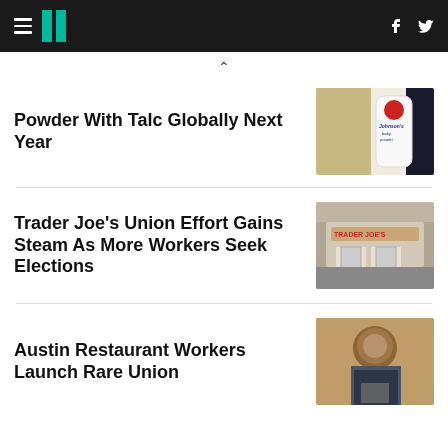HuffPost navigation with hamburger menu, logo, facebook and twitter icons
Powder With Talc Globally Next Year
[Figure (photo): Johnson's Baby Powder bottle close-up]
Trader Joe's Union Effort Gains Steam As More Workers Seek Elections
[Figure (photo): Trader Joe's store exterior with sign]
Austin Restaurant Workers Launch Rare Union
[Figure (photo): Restaurant worker wearing mask]